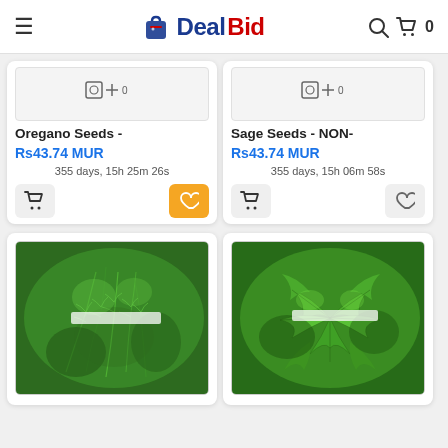DealBid - online auction platform header with navigation menu, logo, search and cart icons
Oregano Seeds -
Rs43.74 MUR
355 days, 15h 25m 26s
Sage Seeds - NON-
Rs43.74 MUR
355 days, 15h 06m 58s
[Figure (photo): Close-up photo of green dill/fennel herb plant with feathery leaves]
[Figure (photo): Close-up photo of green parsley herb plant with broad leaves]